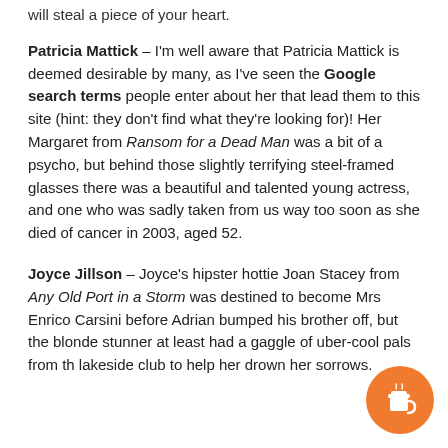will steal a piece of your heart.
Patricia Mattick – I'm well aware that Patricia Mattick is deemed desirable by many, as I've seen the Google search terms people enter about her that lead them to this site (hint: they don't find what they're looking for)! Her Margaret from Ransom for a Dead Man was a bit of a psycho, but behind those slightly terrifying steel-framed glasses there was a beautiful and talented young actress, and one who was sadly taken from us way too soon as she died of cancer in 2003, aged 52.
Joyce Jillson – Joyce's hipster hottie Joan Stacey from Any Old Port in a Storm was destined to become Mrs Enrico Carsini before Adrian bumped his brother off, but the blonde stunner at least had a gaggle of uber-cool pals from the lakeside club to help her drown her sorrows.